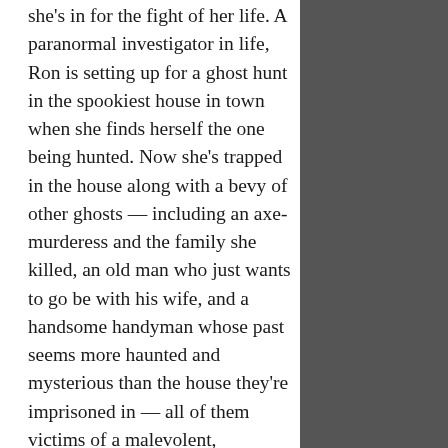she's in for the fight of her life. A paranormal investigator in life, Ron is setting up for a ghost hunt in the spookiest house in town when she finds herself the one being hunted. Now she's trapped in the house along with a bevy of other ghosts — including an axe-murderess and the family she killed, an old man who just wants to go be with his wife, and a handsome handyman whose past seems more haunted and mysterious than the house they're imprisoned in — all of them victims of a malevolent, murderous spirit. Refusing to accept